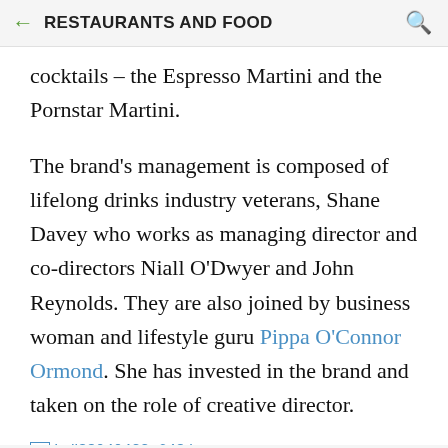← RESTAURANTS AND FOOD 🔍
cocktails – the Espresso Martini and the Pornstar Martini.
The brand's management is composed of lifelong drinks industry veterans, Shane Davey who works as managing director and co-directors Niall O'Dwyer and John Reynolds. They are also joined by business woman and lifestyle guru Pippa O'Connor Ormond. She has invested in the brand and taken on the role of creative director.
[Figure (photo): Broken image placeholder with filename link: Istil38040422_648.jpg]